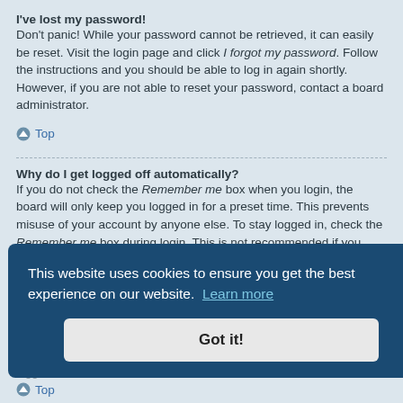I've lost my password!
Don't panic! While your password cannot be retrieved, it can easily be reset. Visit the login page and click I forgot my password. Follow the instructions and you should be able to log in again shortly.
However, if you are not able to reset your password, contact a board administrator.
Top
Why do I get logged off automatically?
If you do not check the Remember me box when you login, the board will only keep you logged in for a preset time. This prevents misuse of your account by anyone else. To stay logged in, check the Remember me box during login. This is not recommended if you access the board from a shared computer, e.g. library, internet cafe, university computer lab, etc. If you do not see this checkbox, it means a board administrator has disabled this feature.
This website uses cookies to ensure you get the best experience on our website. Learn more
Got it!
Top